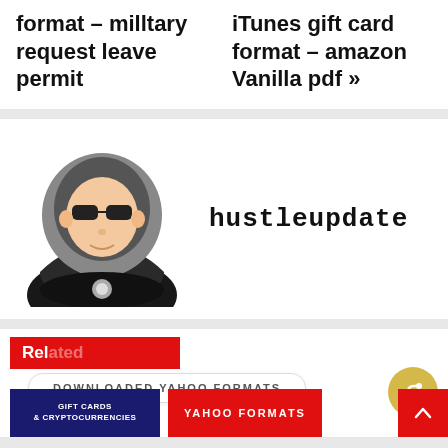format – milltary request leave permit
iTunes gift card format – amazon Vanilla pdf »
[Figure (illustration): Cartoon illustration of a hacker/anonymous figure wearing a hoodie and sunglasses, sitting in front of a laptop]
hustleupdate
Related
DOWNLOADED YAHOO FORMATS
GIFT CARDS & CRYPTOCURRENCIES
YAHOO FORMATS